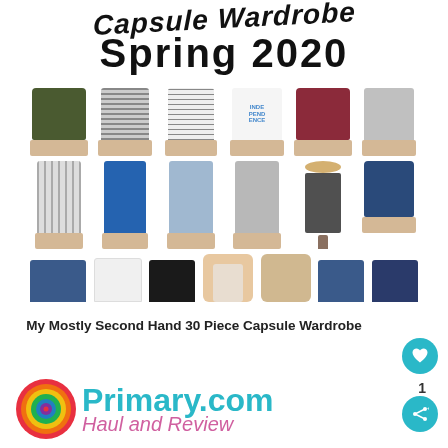Capsule Wardrobe Spring 2020
[Figure (photo): Grid of clothing items for a spring capsule wardrobe: Row 1 shows 6 tops (olive pullover, gray striped long-sleeve, white striped dress/top, white graphic tee, maroon pullover, light gray t-shirt dress). Row 2 shows 6 items (gray striped dress, blue bodycon dress, blue patterned dress, gray wrap dress, floral maxi dress, denim jacket). Row 3 shows partial view of 6 bottom items (denim shorts, white skirt, black skirt, two models, jeans, jeans).]
My Mostly Second Hand 30 Piece Capsule Wardrobe
[Figure (logo): Primary.com logo with concentric colorful circles and teal/cyan brand text, with 'Haul and Review' in pink cursive below]